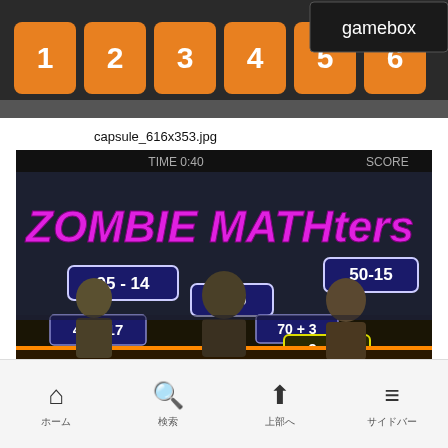[Figure (screenshot): Screenshot of a game interface showing orange numbered buttons (1-6) and a 'gamebox' label on dark background]
capsule_616x353.jpg
[Figure (screenshot): Screenshot of 'ZOMBIE MATHters' game showing zombies with math problems: 95-14, 8×6, 50-15, 44+17, 70+3, 0+8. Banner reads 'ZOMBIE vsARITHMETIC']
ホーム　　　検索　　　上部へ　　　サイドバー